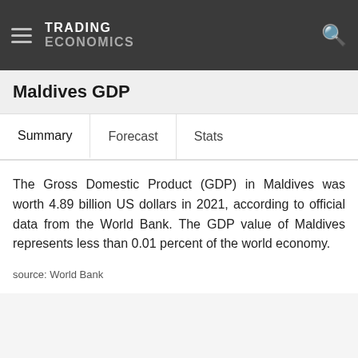TRADING ECONOMICS
Maldives GDP
Summary   Forecast   Stats
The Gross Domestic Product (GDP) in Maldives was worth 4.89 billion US dollars in 2021, according to official data from the World Bank. The GDP value of Maldives represents less than 0.01 percent of the world economy.
source: World Bank